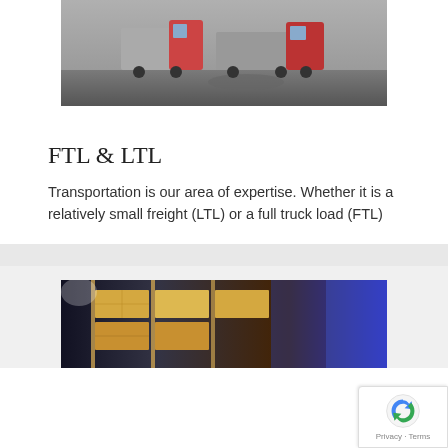[Figure (photo): Photograph of semi-trucks/tractor-trailers parked in a lot or yard]
FTL & LTL
Transportation is our area of expertise. Whether it is a relatively small freight (LTL) or a full truck load (FTL)
[Figure (photo): Photograph of stacked cardboard boxes on warehouse shelving racks with blue lighting in background]